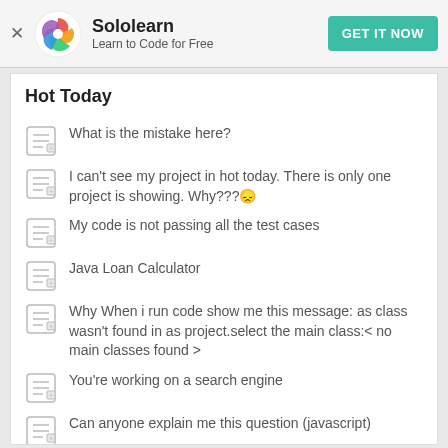Sololearn — Learn to Code for Free — GET IT NOW
Hot Today
What is the mistake here?
I can't see my project in hot today. There is only one project is showing. Why???😞
My code is not passing all the test cases
Java Loan Calculator
Why When i run code show me this message: as class wasn't found in as project.select the main class:< no main classes found >
You're working on a search engine
Can anyone explain me this question (javascript)